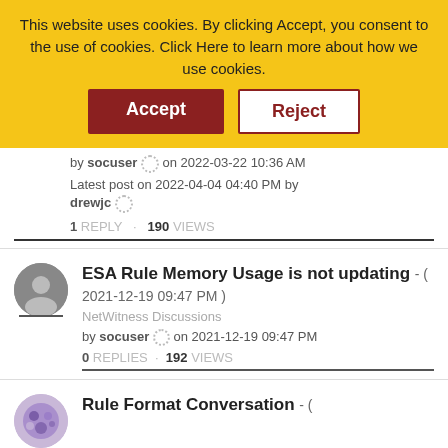[Figure (screenshot): Cookie consent banner with yellow background, Accept (dark red) and Reject (white with dark red border) buttons]
by socuser on 2022-03-22 10:36 AM
Latest post on 2022-04-04 04:40 PM by drewjc
1 REPLY   190 VIEWS
ESA Rule Memory Usage is not updating - ( 2021-12-19 09:47 PM ) NetWitness Discussions by socuser on 2021-12-19 09:47 PM 0 REPLIES 192 VIEWS
Rule Format Conversation - (